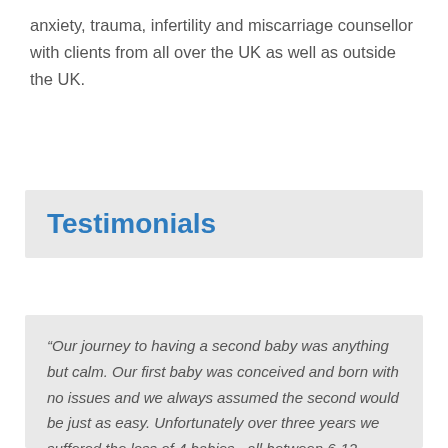anxiety, trauma, infertility and miscarriage counsellor with clients from all over the UK as well as outside the UK.
Testimonials
“Our journey to having a second baby was anything but calm. Our first baby was conceived and born with no issues and we always assumed the second would be just as easy. Unfortunately over three years we suffered the loss of 4 babies , all between 6-12 weeks. As you can imagine this was incredibly difficult and we almost gave up trying. After the final miscarriage I was at an extremely low point and sliding into